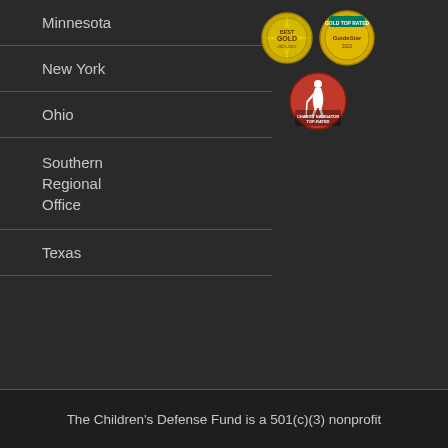Minnesota
New York
Ohio
Southern Regional Office
Texas
[Figure (logo): Three charity rating badges: BBB Best Gold award seal, GuideStar top-rated gold seal, and Charity Navigator top-rated seal]
The Children's Defense Fund is a 501(c)(3) nonprofit